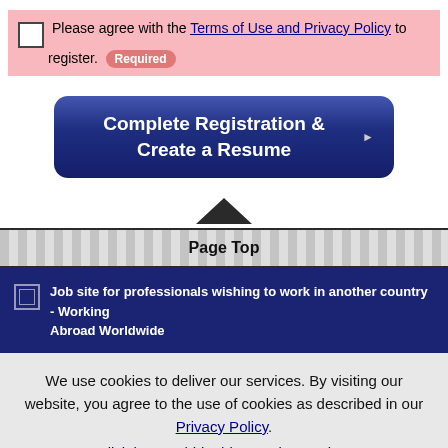Please agree with the Terms of Use and Privacy Policy to register. Required
[Figure (other): Blue rounded button with white bold text: Complete Registration & Create a Resume, with a right-pointing arrow]
[Figure (other): Page Top navigation element with upward-pointing triangle and striped bar]
Job site for professionals wishing to work in another country - Working Abroad Worldwide
We use cookies to deliver our services. By visiting our website, you agree to the use of cookies as described in our Privacy Policy. Click here to hide this one-time notice.